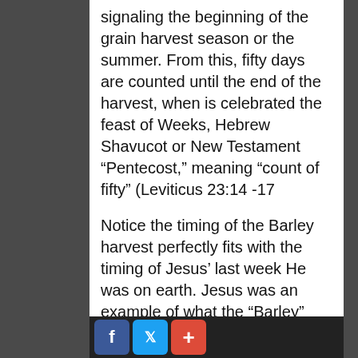signaling the beginning of the grain harvest season or the summer. From this, fifty days are counted until the end of the harvest, when is celebrated the feast of Weeks, Hebrew Shavucot or New Testament “Pentecost,” meaning “count of fifty” (Leviticus 23:14 -17
Notice the timing of the Barley harvest perfectly fits with the timing of Jesus’ last week He was on earth. Jesus was an example of what the “Barley” and/or the “Elect” will be in our day. He is the model man, our example, who has gone before us and we are to take up our own cross and follow in His steps. Matt 1․34; Mark 10:21. Christ also represented the slain Passover lamb. “Christ